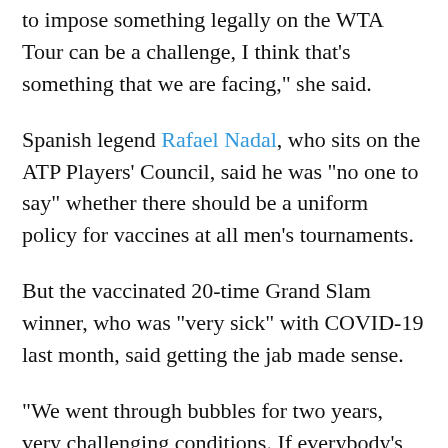to impose something legally on the WTA Tour can be a challenge, I think that's something that we are facing," she said.
Spanish legend Rafael Nadal, who sits on the ATP Players' Council, said he was "no one to say" whether there should be a uniform policy for vaccines at all men's tournaments.
But the vaccinated 20-time Grand Slam winner, who was "very sick" with COVID-19 last month, said getting the jab made sense.
"We went through bubbles for two years, very challenging conditions. If everybody's vaccinated, we are allowed to improve our life on the tour and most importantly our life outside of the tour," he said.